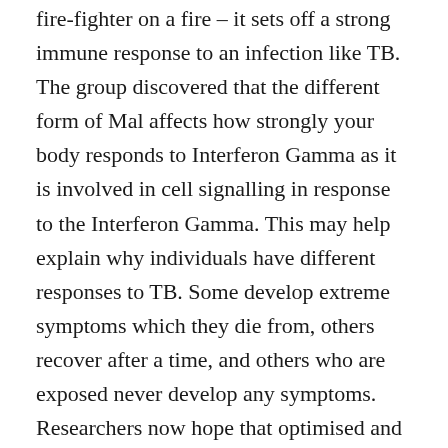fire-fighter on a fire – it sets off a strong immune response to an infection like TB. The group discovered that the different form of Mal affects how strongly your body responds to Interferon Gamma as it is involved in cell signalling in response to the Interferon Gamma. This may help explain why individuals have different responses to TB. Some develop extreme symptoms which they die from, others recover after a time, and others who are exposed never develop any symptoms. Researchers now hope that optimised and personalised treatments could be developed to suit the individual based on this new information. It also has implications for other illnesses where Interferon Gamma is